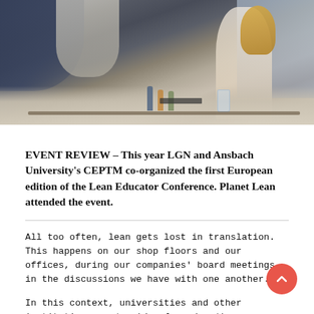[Figure (photo): Overhead/side view of conference attendees seated at long white tables in a meeting room, viewed from behind. Multiple people visible including a blonde woman on the right. Bottles and notebooks on tables.]
EVENT REVIEW – This year LGN and Ansbach University's CEPTM co-organized the first European edition of the Lean Educator Conference. Planet Lean attended the event.
All too often, lean gets lost in translation. This happens on our shop floors and our offices, during our companies' board meetings, in the discussions we have with one another.
In this context, universities and other institutions teaching lean (as the repositories and the creators of knowledge) have an important role to play.